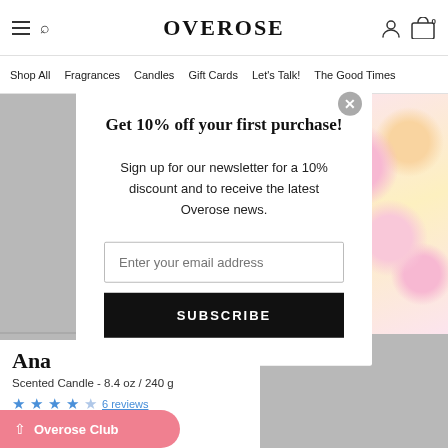OVEROSE — Shop All | Fragrances | Candles | Gift Cards | Let's Talk! | The Good Times
Get 10% off your first purchase!
Sign up for our newsletter for a 10% discount and to receive the latest Overose news.
Enter your email address
SUBSCRIBE
Ana
Scented Candle - 8.4 oz / 240 g
6 reviews
Overose Club